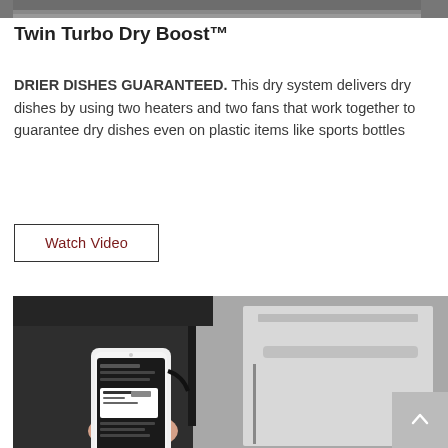[Figure (photo): Partial view of a dark kitchen appliance, cropped at top of the page]
Twin Turbo Dry Boost™
DRIER DISHES GUARANTEED. This dry system delivers dry dishes by using two heaters and two fans that work together to guarantee dry dishes even on plastic items like sports bottles
Watch Video
[Figure (photo): Person holding a white smartphone with a dark app interface showing dishwasher controls, in front of a stainless steel dishwasher in a dark kitchen]